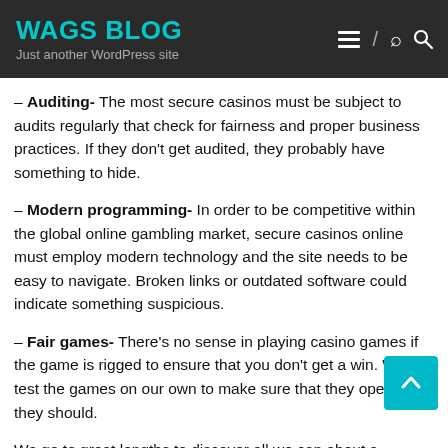WAGS BLOG
Just another WordPress site
– Auditing- The most secure casinos must be subject to audits regularly that check for fairness and proper business practices. If they don't get audited, they probably have something to hide.
– Modern programming- In order to be competitive within the global online gambling market, secure casinos online must employ modern technology and the site needs to be easy to navigate. Broken links or outdated software could indicate something suspicious.
– Fair games- There's no sense in playing casino games if the game is rigged to ensure that you don't get a win. We test the games on our own to make sure that they operate as they should.
We go to great lengths to discover all we can about a website prior to deciding whether or not we recommend it. That includes doing research on it as well as actually using the website.